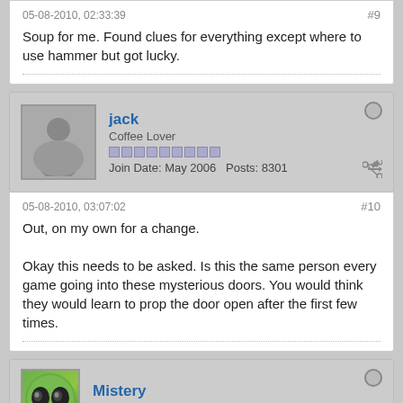05-08-2010, 02:33:39
#9
Soup for me. Found clues for everything except where to use hammer but got lucky.
jack
Coffee Lover
Join Date: May 2006   Posts: 8301
05-08-2010, 03:07:02
#10
Out, on my own for a change.

Okay this needs to be asked. Is this the same person every game going into these mysterious doors. You would think they would learn to prop the door open after the first few times.
Mistery
Veteran